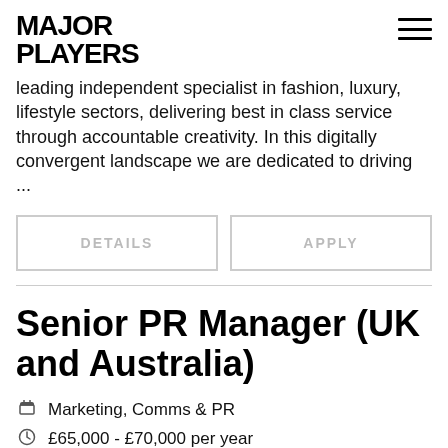MAJOR PLAYERS
leading independent specialist in fashion, luxury, lifestyle sectors, delivering best in class service through accountable creativity. In this digitally convergent landscape we are dedicated to driving ...
DETAILS | APPLY
Senior PR Manager (UK and Australia)
Marketing, Comms & PR
£65,000 - £70,000 per year